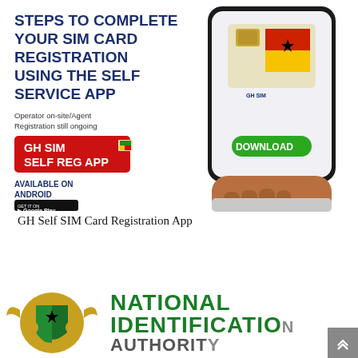[Figure (infographic): Promotional banner showing steps to complete SIM card registration using the GH SIM Self Reg App. Features bold blue text on white background: 'STEPS TO COMPLETE YOUR SIM CARD REGISTRATION USING THE SELF SERVICE APP', smaller text 'Operator on-site/Agent Registration still ongoing', a red/orange button labeled 'GH SIM SELF REG APP' with a Ghana flag SIM card icon, text 'AVAILABLE ON ANDROID' with a Google Play badge. Right side shows a hand holding a smartphone displaying a Ghana-flag SIM card, with a green 'DOWNLOAD' button on the phone screen.]
GH Self SIM Card Registration App
[Figure (logo): National Identification Authority of Ghana logo — Ghana coat of arms on the left in gold/yellow, with bold green text 'NATIONAL IDENTIFICATION AUTHORITY' on the right (partially cut off at bottom).]